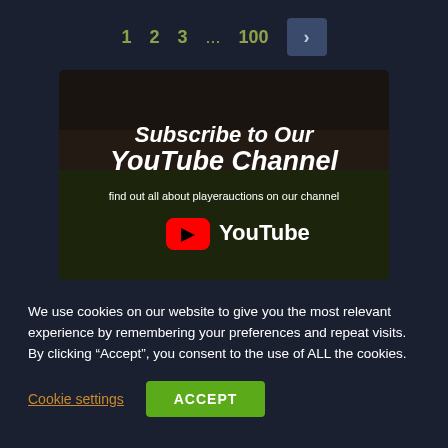1  2  3  ...  100  >
[Figure (screenshot): YouTube subscription banner with text 'Subscribe to Our YouTube Channel' and 'find out all about playerauctions on our channel' with YouTube logo]
We use cookies on our website to give you the most relevant experience by remembering your preferences and repeat visits. By clicking "Accept", you consent to the use of ALL the cookies.
Cookie settings   ACCEPT